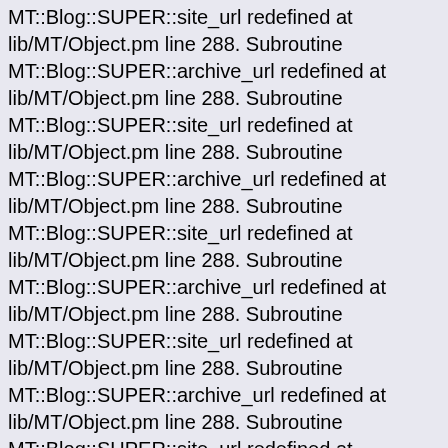MT::Blog::SUPER::site_url redefined at lib/MT/Object.pm line 288. Subroutine MT::Blog::SUPER::archive_url redefined at lib/MT/Object.pm line 288. Subroutine MT::Blog::SUPER::site_url redefined at lib/MT/Object.pm line 288. Subroutine MT::Blog::SUPER::archive_url redefined at lib/MT/Object.pm line 288. Subroutine MT::Blog::SUPER::site_url redefined at lib/MT/Object.pm line 288. Subroutine MT::Blog::SUPER::archive_url redefined at lib/MT/Object.pm line 288. Subroutine MT::Blog::SUPER::site_url redefined at lib/MT/Object.pm line 288. Subroutine MT::Blog::SUPER::archive_url redefined at lib/MT/Object.pm line 288. Subroutine MT::Blog::SUPER::site_url redefined at lib/MT/Object.pm line 288. Subroutine MT::Blog::SUPER::archive_url redefined at lib/MT/Object.pm line 288. Subroutine MT::Blog::SUPER::site_url redefined at lib/MT/Object.pm line 288. Subroutine MT::Blog::SUPER::archive_url redefined at lib/MT/Object.pm line 288. Subroutine MT::Blog::SUPER::site_url redefined at lib/MT/Object.pm line 288. Subroutine MT::Blog::SUPER::archive_url redefined at lib/MT/Object.pm line 288. Subroutine MT::Blog::SUPER::site_url redefined at lib/MT/Object.pm line 288. Subroutine MT::Blog::SUPER::archive_url redefined at lib/MT/Object.pm line 288. Subroutine MT::Blog::SUPER::site_url redefined at lib/MT/Object.pm line